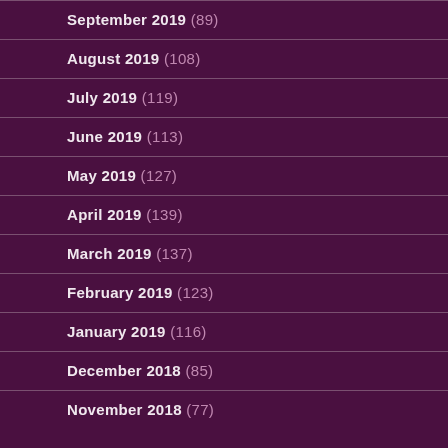September 2019 (89)
August 2019 (108)
July 2019 (119)
June 2019 (113)
May 2019 (127)
April 2019 (139)
March 2019 (137)
February 2019 (123)
January 2019 (116)
December 2018 (85)
November 2018 (77)